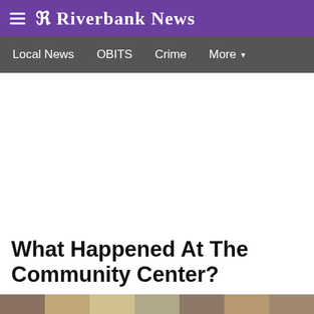R Riverbank News
Local News  OBITS  Crime  More
[Figure (other): Advertisement/blank white space area]
What Happened At The Community Center?
[Figure (photo): Bottom image strip showing partial news photos]